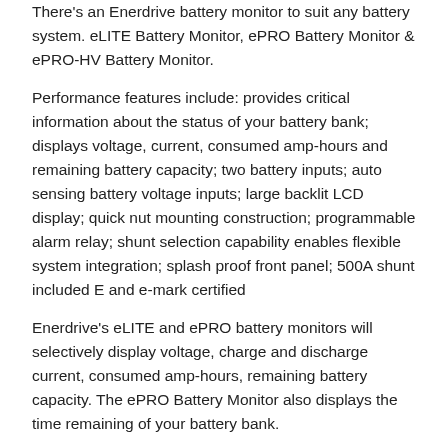There's an Enerdrive battery monitor to suit any battery system. eLITE Battery Monitor, ePRO Battery Monitor & ePRO-HV Battery Monitor.
Performance features include: provides critical information about the status of your battery bank; displays voltage, current, consumed amp-hours and remaining battery capacity; two battery inputs; auto sensing battery voltage inputs; large backlit LCD display; quick nut mounting construction; programmable alarm relay; shunt selection capability enables flexible system integration; splash proof front panel; 500A shunt included E and e-mark certified
Enerdrive's eLITE and ePRO battery monitors will selectively display voltage, charge and discharge current, consumed amp-hours, remaining battery capacity. The ePRO Battery Monitor also displays the time remaining of your battery bank.
Additionally, Enerdrive's range of battery chargers are designed to